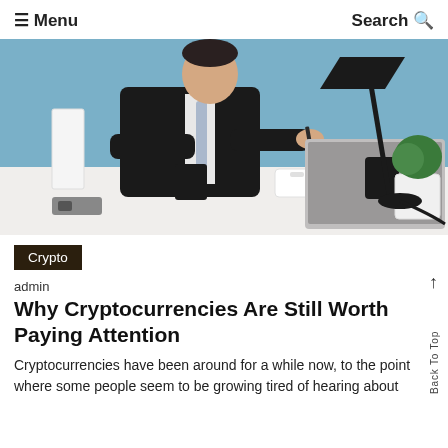≡ Menu   Search Q
[Figure (photo): A businessman in a black suit sitting at a white desk with a laptop, writing with a pencil. A desk lamp, plant, pen holder, and coffee cup are on the desk. Blue wall in background.]
Crypto
admin
Why Cryptocurrencies Are Still Worth Paying Attention
Cryptocurrencies have been around for a while now, to the point where some people seem to be growing tired of hearing about